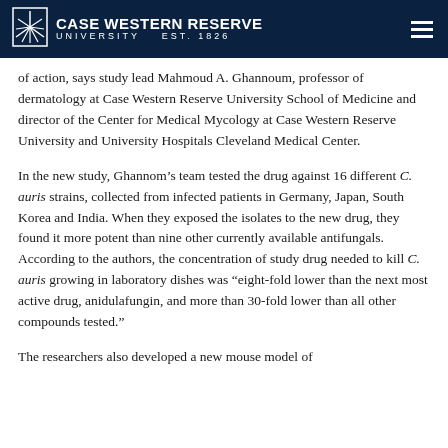Case Western Reserve University EST. 1826
of action, says study lead Mahmoud A. Ghannoum, professor of dermatology at Case Western Reserve University School of Medicine and director of the Center for Medical Mycology at Case Western Reserve University and University Hospitals Cleveland Medical Center.
In the new study, Ghannom’s team tested the drug against 16 different C. auris strains, collected from infected patients in Germany, Japan, South Korea and India. When they exposed the isolates to the new drug, they found it more potent than nine other currently available antifungals. According to the authors, the concentration of study drug needed to kill C. auris growing in laboratory dishes was “eight-fold lower than the next most active drug, anidulafungin, and more than 30-fold lower than all other compounds tested.”
The researchers also developed a new mouse model of